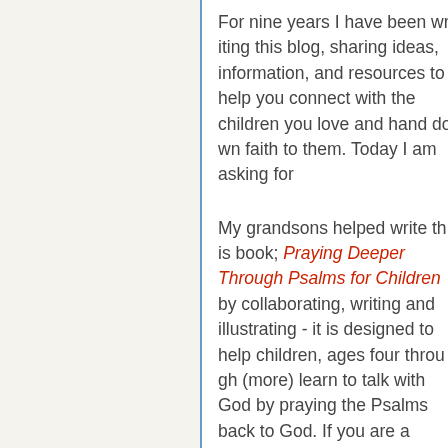For nine years I have been writing this blog, sharing ideas, information, and resources to help you connect with the children you love and hand down faith to them. Today I am asking for...
My grandsons helped write this book; Praying Deeper Through Psalms for Children by collaborating, writing and illustrating - it is designed to help children, ages four through (more) learn to talk with God by praying the Psalms back to God. If you are a grandparent/parent or know of (more) who wants to hand down faith by helping the children you love to be people who pray, please co...